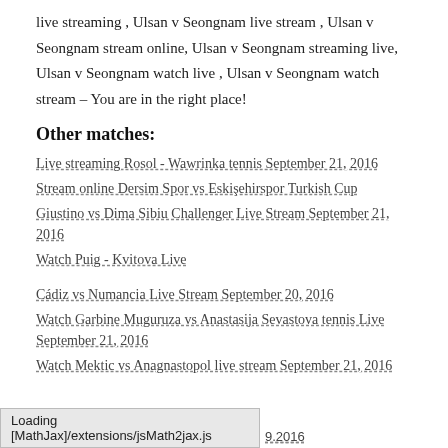live streaming , Ulsan v Seongnam live stream , Ulsan v Seongnam stream online, Ulsan v Seongnam streaming live, Ulsan v Seongnam watch live , Ulsan v Seongnam watch stream – You are in the right place!
Other matches:
Live streaming Rosol - Wawrinka tennis September 21, 2016
Stream online Dersim Spor vs Eskişehirspor Turkish Cup
Giustino vs Dima Sibiu Challenger Live Stream September 21, 2016
Watch Puig - Kvitova Live
Cádiz vs Numancia Live Stream September 20, 2016
Watch Garbine Muguruza vs Anastasija Sevastova tennis Live September 21, 2016
Watch Mektic vs Anagnastopol live stream September 21, 2016
Loading [MathJax]/extensions/jsMath2jax.js
9.2016